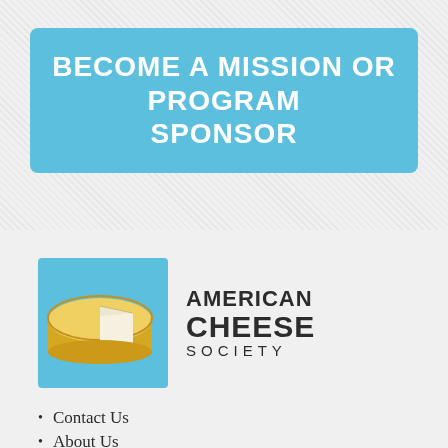BECOME A MISSION OR PROGRAM SPONSOR
[Figure (logo): American Cheese Society logo with illustrated cheese wheel on blue square background and bold text reading AMERICAN CHEESE SOCIETY]
Contact Us
About Us
Privacy & Terms
Join or Renew